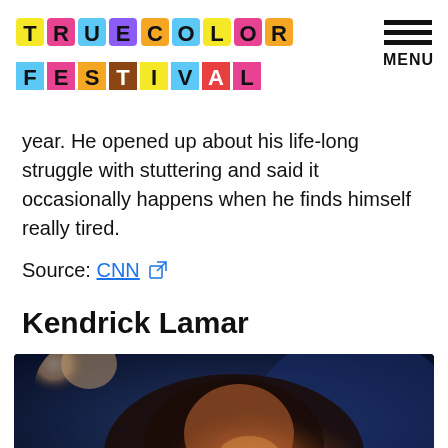TRUE COLORS FESTIVAL — MENU
year. He opened up about his life-long struggle with stuttering and said it occasionally happens when he finds himself really tired.
Source: CNN [external link]
Kendrick Lamar
[Figure (photo): Photo of Kendrick Lamar smiling, wearing a sequined outfit, with another person visible in background, dark blue ambient lighting]